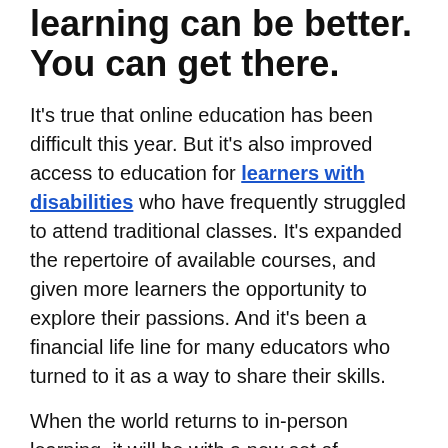learning can be better. You can get there.
It's true that online education has been difficult this year. But it's also improved access to education for learners with disabilities who have frequently struggled to attend traditional classes. It's expanded the repertoire of available courses, and given more learners the opportunity to explore their passions. And it's been a financial life line for many educators who turned to it as a way to share their skills.
When the world returns to in-person learning, it will be with a new set of educational tools, from quizzes to use to